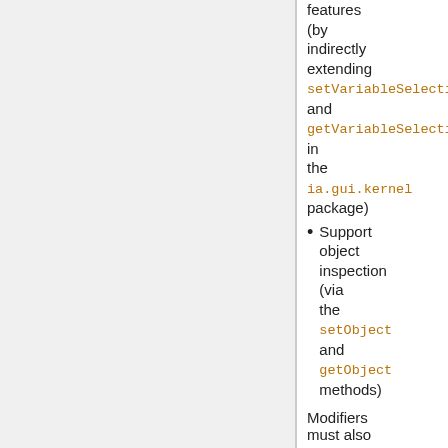features (by indirectly extending setVariableSelection and getVariableSelection in the ia.gui.kernel package)
Support object inspection (via the setObject and getObject methods)
Modifiers
must also